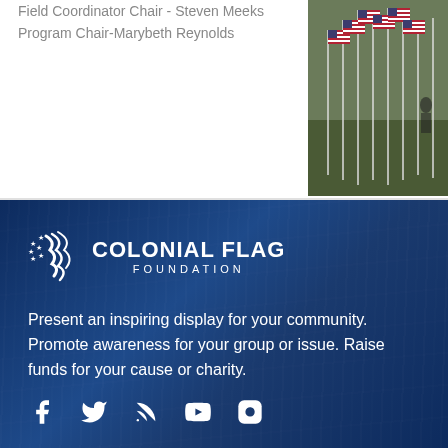Field Coordinator Chair - Steven Meeks
Program Chair-Marybeth Reynolds
[Figure (photo): Photo of many American flags on poles planted in a grassy field]
[Figure (logo): Colonial Flag Foundation logo with stars and flag wave icon]
Present an inspiring display for your community. Promote awareness for your group or issue. Raise funds for your cause or charity.
[Figure (infographic): Social media icons: Facebook, Twitter, RSS feed, YouTube, Instagram]